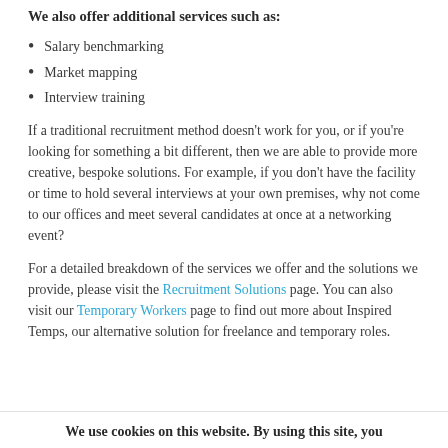We also offer additional services such as:
Salary benchmarking
Market mapping
Interview training
If a traditional recruitment method doesn't work for you, or if you're looking for something a bit different, then we are able to provide more creative, bespoke solutions. For example, if you don't have the facility or time to hold several interviews at your own premises, why not come to our offices and meet several candidates at once at a networking event?
For a detailed breakdown of the services we offer and the solutions we provide, please visit the Recruitment Solutions page. You can also visit our Temporary Workers page to find out more about Inspired Temps, our alternative solution for freelance and temporary roles.
We use cookies on this website. By using this site, you